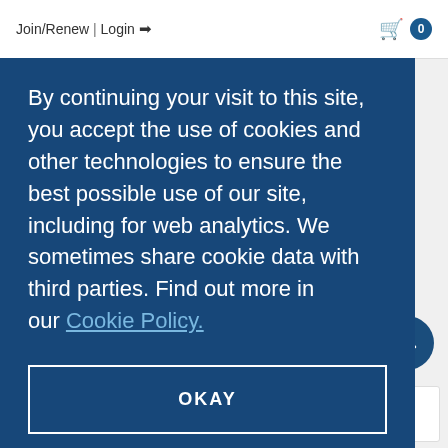Join/Renew | Login
By continuing your visit to this site, you accept the use of cookies and other technologies to ensure the best possible use of our site, including for web analytics. We sometimes share cookie data with third parties. Find out more in our Cookie Policy.
OKAY
More information coming soon.
OTHER OPTIONS
More information coming soon.